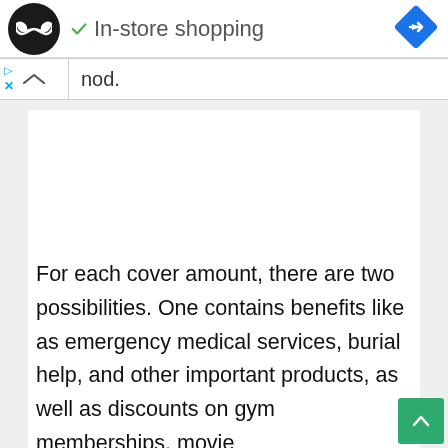[Figure (screenshot): Top navigation bar with circular logo (dark with infinity-like icon), green checkmark and 'In-store shopping' label, blue diamond navigation icon on right, and blue ad controls (play and X) on left below bar]
nod.
For each cover amount, there are two possibilities. One contains benefits like as emergency medical services, burial help, and other important products, as well as discounts on gym memberships, movie